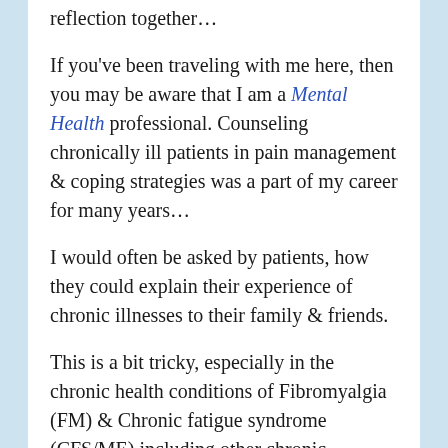reflection together…
If you've been traveling with me here, then you may be aware that I am a Mental Health professional. Counseling chronically ill patients in pain management & coping strategies was a part of my career for many years…
I would often be asked by patients, how they could explain their experience of chronic illnesses to their family & friends.
This is a bit tricky, especially in the chronic health conditions of Fibromyalgia (FM) & Chronic fatigue syndrome (CFS/ME) including other chronic conditions where the patient looks well!